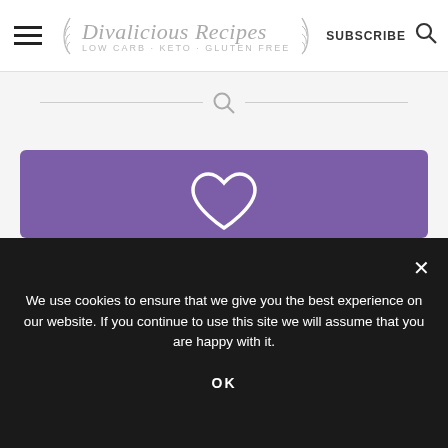Divalicious Recipes LOW CARB - KETO - GLUTEN FREE | SUBSCRIBE
[Figure (screenshot): Search bar with magnifying glass icon and horizontal lines on either side]
[Figure (infographic): Purple box with white heart outline icon at top, then bold white text: Have you tried this recipe? Leave a review or take a picture and share it on Instagram]
We use cookies to ensure that we give you the best experience on our website. If you continue to use this site we will assume that you are happy with it.
OK